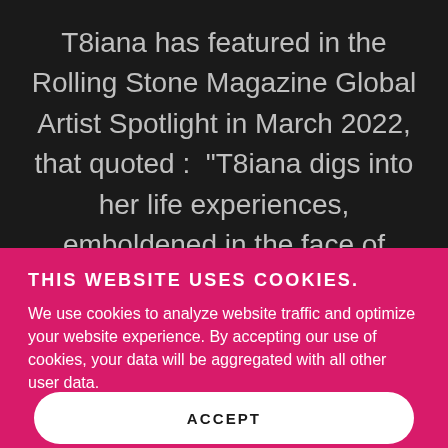iTunes UK Dance Charts on 3rd April 2022.

T8iana has featured in the Rolling Stone Magazine Global Artist Spotlight in March 2022, that quoted : "T8iana digs into her life experiences, emboldened in the face of childhood bullying and assault she
THIS WEBSITE USES COOKIES.
We use cookies to analyze website traffic and optimize your website experience. By accepting our use of cookies, your data will be aggregated with all other user data.
ACCEPT